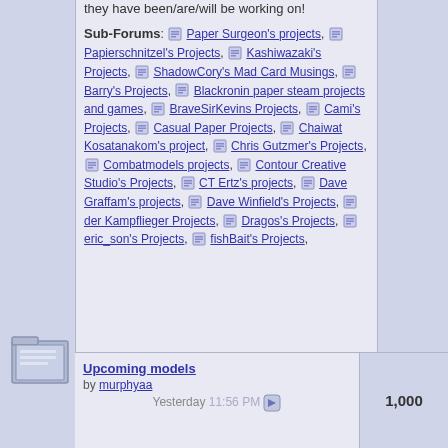they have been/are/will be working on!
Sub-Forums: Paper Surgeon's projects, Papierschnitzel's Projects, Kashiwazaki's Projects, ShadowCory's Mad Card Musings, Barry's Projects, Blackronin paper steam projects and games, BraveSirKevins Projects, Cami's Projects, Casual Paper Projects, Chaiwat Kosatanakom's project, Chris Gutzmer's Projects, Combatmodels projects, Contour Creative Studio's Projects, CT Ertz's projects, Dave Graffam's projects, Dave Winfield's Projects, der Kampflieger Projects, Dragos's Projects, eric_son's Projects, fishBait's Projects
[Figure (illustration): Folder/document icon]
Upcoming models
by murphyaa Yesterday 11:56 PM
1,000